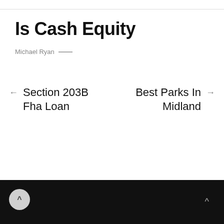Is Cash Equity
Michael Ryan —
← Section 203B Fha Loan
Best Parks In Midland →